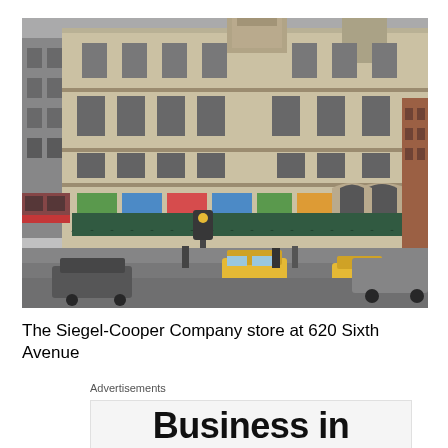[Figure (photo): Street-level photograph of the Siegel-Cooper Company store building at 620 Sixth Avenue, New York City. The building is a large ornate Beaux-Arts style limestone structure on a corner lot. The ground floor has dark green awnings and colorful window displays. Taxis and cars are visible on the wet street in the foreground. Other buildings are visible on either side.]
The Siegel-Cooper Company store at 620 Sixth Avenue
Advertisements
Business in